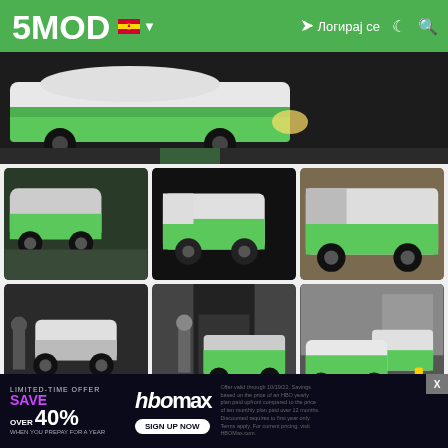5MODS – Логирај се
[Figure (screenshot): Hero image: GTA V screenshot showing green and white police/security cars on a road at night]
[Figure (screenshot): Grid of 6 GTA V screenshots showing various green-and-white security/police vehicles including a sedan, van, armored truck, golf cart, and SUV]
∨ Зголеми да ги видиш сите слики и видеа ∨
[Figure (screenshot): HBO Max advertisement banner: LIMITED-TIME OFFER SAVE OVER 40% WHEN YOU PREPAY FOR A YEAR – SIGN UP NOW]